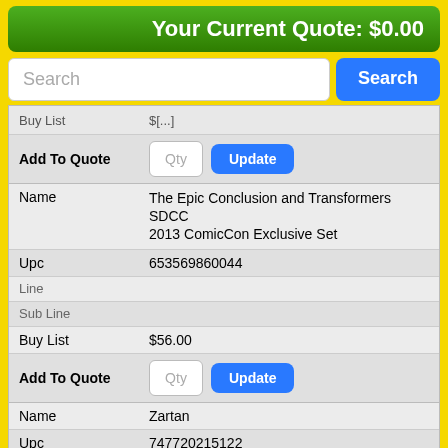Your Current Quote: $0.00
Search
| Field | Value |
| --- | --- |
| Buy List | $[truncated] |
| Add To Quote | Qty | Update |
| Field | Value |
| --- | --- |
| Name | The Epic Conclusion and Transformers SDCC 2013 ComicCon Exclusive Set |
| Upc | 653569860044 |
| Line | [truncated] |
| Sub Line | [truncated] |
| Buy List | $56.00 |
| Add To Quote | Qty | Update |
| Field | Value |
| --- | --- |
| Name | Zartan |
| Upc | 747720215122 |
| Line | Sideshow Collectibles |
| Sub Line | 12-Inch Figure |
| Buy List | $57.00 |
| Add To Quote | Qty | Update |